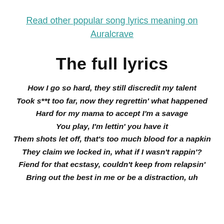Read other popular song lyrics meaning on Auralcrave
The full lyrics
How I go so hard, they still discredit my talent
Took s**t too far, now they regrettin' what happened
Hard for my mama to accept I'm a savage
You play, I'm lettin' you have it
Them shots let off, that's too much blood for a napkin
They claim we locked in, what if I wasn't rappin'?
Fiend for that ecstasy, couldn't keep from relapsin'
Bring out the best in me or be a distraction, uh